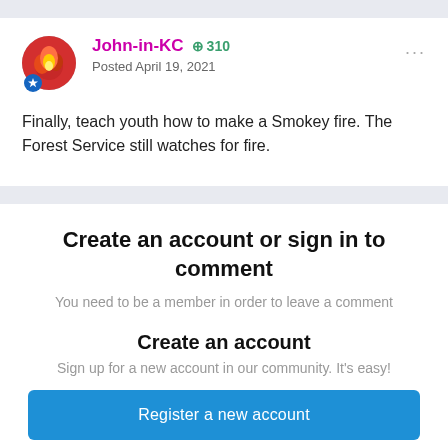[Figure (illustration): Forum post with user avatar, username John-in-KC, reputation +310, dated April 19, 2021]
John-in-KC
+310
Posted April 19, 2021
Finally, teach youth how to make a Smokey fire. The Forest Service still watches for fire.
Create an account or sign in to comment
You need to be a member in order to leave a comment
Create an account
Sign up for a new account in our community. It's easy!
Register a new account